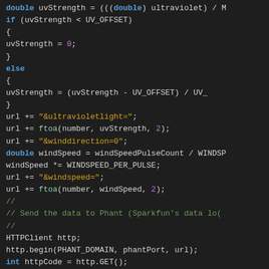[Figure (screenshot): Source code screenshot showing C/C++ code for UV sensor and wind speed data logging to Phant (Sparkfun's data logging service). Dark background IDE theme with syntax highlighting. Code includes uvStrength calculation, wind speed calculation, URL construction, and HTTPClient usage.]